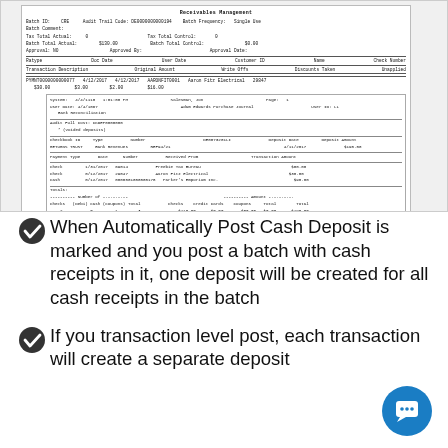[Figure (screenshot): Screenshot of a financial receivables management batch transaction report showing batch details, transaction descriptions, original amounts, write-offs, discounts taken, and deposit information with a sub-window showing deposit details including payment types (checks), amounts, and totals.]
When Automatically Post Cash Deposit is marked and you post a batch with cash receipts in it, one deposit will be created for all cash receipts in the batch
If you transaction level post, each transaction will create a separate deposit